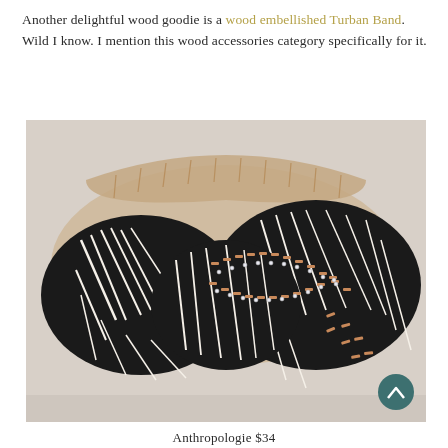Another delightful wood goodie is a wood embellished Turban Band. Wild I know. I mention this wood accessories category specifically for it.
[Figure (photo): Close-up photo of a black and white patterned turban headband with wood bead and rhinestone embellishments, showing the twisted knot detail. The inner part of the headband is visible in beige/tan. Product from Anthropologie.]
Anthropologie $34